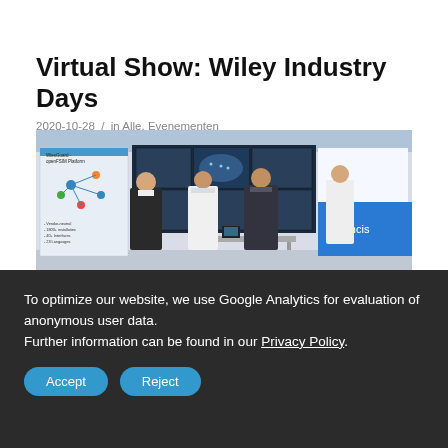Virtual Show: Wiley Industry Days
2020-10-28  /  in Alle, Evenementen
[Figure (photo): Four men standing in a virtual exhibition space with large display screens showing dashboards and maps. A banner reads 'WiesGuard openFSIM Platform'. An Advancis logo is visible on the right side.]
To optimize our website, we use Google Analytics for evaluation of anonymous user data.
Further information can be found in our Privacy Policy.
Accept   Reject